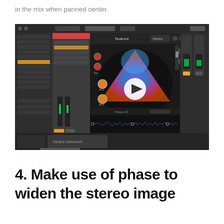in the mix when panned center.
[Figure (screenshot): Screenshot of Ableton Live DAW with Nuance or similar plugin showing a colorful vector-scope/stereo imaging display with a play button overlay in the center. The plugin interface shows a triangular colorful visualization (blue, purple, red, orange) on a dark background, with various controls and a waveform at the bottom.]
4. Make use of phase to widen the stereo image